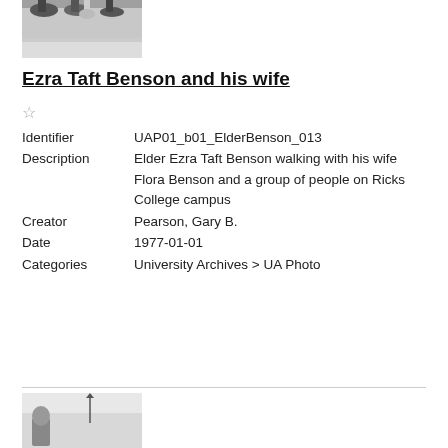[Figure (photo): Black and white photo showing feet/lower legs of people standing, cropped at top of page]
Ezra Taft Benson and his wife
☆
Identifier   UAP01_b01_ElderBenson_013
Description  Elder Ezra Taft Benson walking with his wife Flora Benson and a group of people on Ricks College campus
Creator      Pearson, Gary B.
Date         1977-01-01
Categories   University Archives > UA Photo
[Figure (photo): Black and white photo partially visible at bottom of page with an arrow or pointer visible]